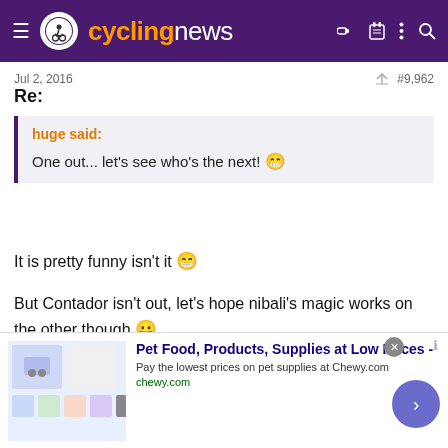cyclingnews
Jul 2, 2016  #9,962
Re:
huge said:
One out... let's see who's the next! 😁
It is pretty funny isn't it 😁
But Contador isn't out, let's hope nibali's magic works on the other though 😛
[Figure (screenshot): Advertisement banner: Pet Food, Products, Supplies at Low Prices - Chewy.com]
Pet Food, Products, Supplies at Low Prices -
Pay the lowest prices on pet supplies at Chewy.com
chewy.com